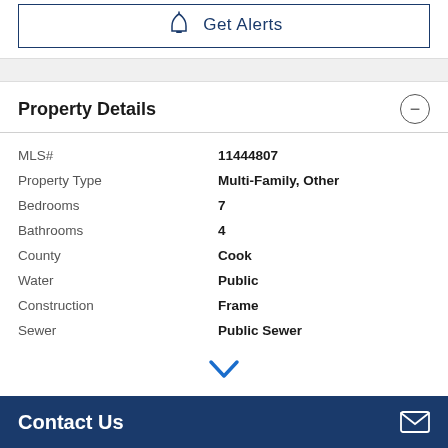[Figure (other): Get Alerts button with bell icon, outlined in dark blue]
Property Details
| MLS# | 11444807 |
| Property Type | Multi-Family, Other |
| Bedrooms | 7 |
| Bathrooms | 4 |
| County | Cook |
| Water | Public |
| Construction | Frame |
| Sewer | Public Sewer |
[Figure (other): Chevron down arrow icon in blue]
Contact Us